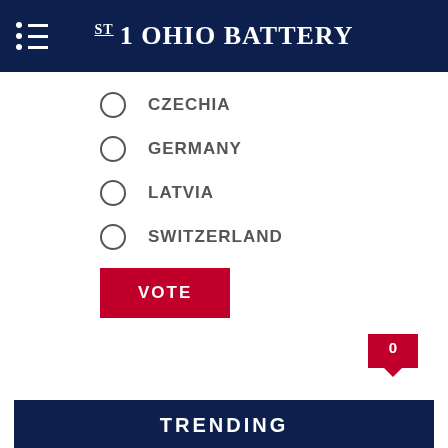1st OHIO BATTERY
CZECHIA
GERMANY
LATVIA
SWITZERLAND
VOTE
0
TRENDING
Looking Ahead: Vladislav Gavrikov'... Article
4
Projecting Possible Forward Line-
3